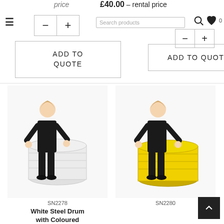price
£40.00 – rental price
Search products
- +
- +
ADD TO QUOTE
ADD TO QUOTE
[Figure (photo): Woman in black outfit standing next to a white steel drum]
SN2278
White Steel Drum with Coloured
[Figure (photo): Woman in black outfit standing next to a yellow steel drum]
SN2280